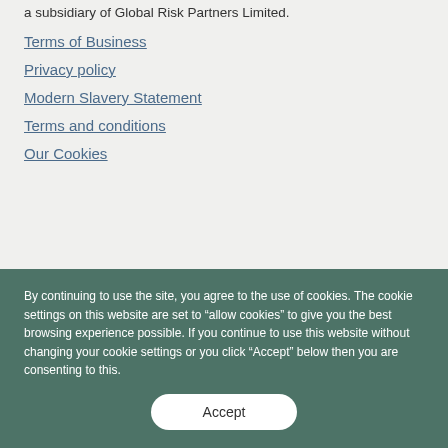a subsidiary of Global Risk Partners Limited.
Terms of Business
Privacy policy
Modern Slavery Statement
Terms and conditions
Our Cookies
By continuing to use the site, you agree to the use of cookies. The cookie settings on this website are set to "allow cookies" to give you the best browsing experience possible. If you continue to use this website without changing your cookie settings or you click "Accept" below then you are consenting to this.
Accept